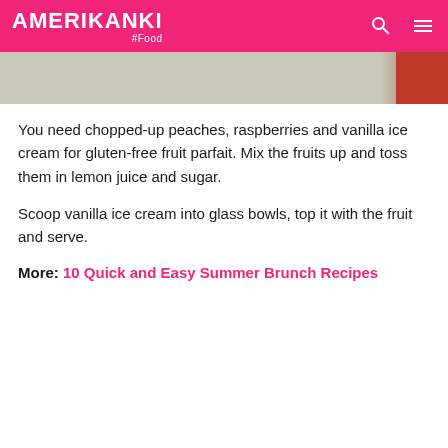AMERIKANKI #Food
You need chopped-up peaches, raspberries and vanilla ice cream for gluten-free fruit parfait. Mix the fruits up and toss them in lemon juice and sugar.
Scoop vanilla ice cream into glass bowls, top it with the fruit and serve.
More: 10 Quick and Easy Summer Brunch Recipes